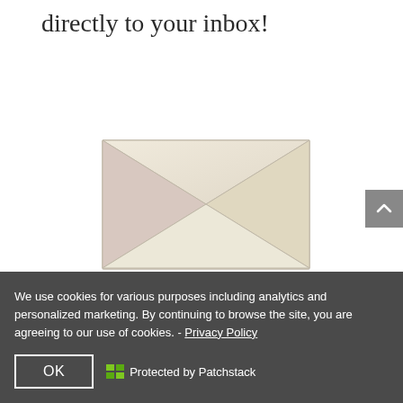directly to your inbox!
[Figure (illustration): Envelope/mail icon illustration showing a closed envelope with triangular flap folds, light cream/beige color with subtle pink-rose shading on left portion]
We use cookies for various purposes including analytics and personalized marketing. By continuing to browse the site, you are agreeing to our use of cookies. - Privacy Policy
OK   Protected by Patchstack